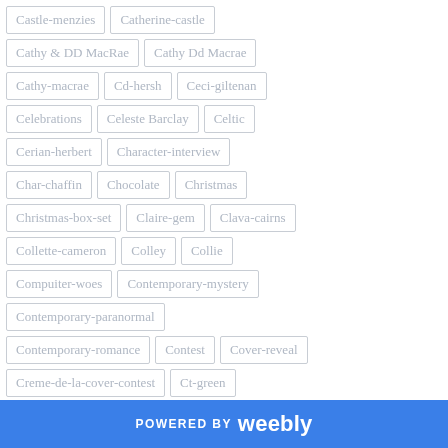Castle-menzies
Catherine-castle
Cathy & DD MacRae
Cathy Dd Macrae
Cathy-macrae
Cd-hersh
Ceci-giltenan
Celebrations
Celeste Barclay
Celtic
Cerian-herbert
Character-interview
Char-chaffin
Chocolate
Christmas
Christmas-box-set
Claire-gem
Clava-cairns
Collette-cameron
Colley
Collie
Compuiter-woes
Contemporary-mystery
Contemporary-paranormal
Contemporary-romance
Contest
Cover-reveal
Creme-de-la-cover-contest
Ct-green
Culloden-battlefield
Cynthia-owens
POWERED BY weebly